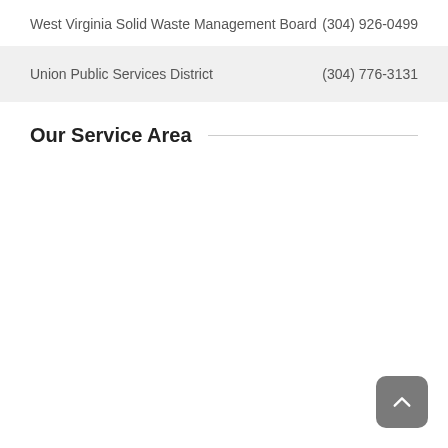| Organization | Phone |
| --- | --- |
| West Virginia Solid Waste Management Board | (304) 926-0499 |
| Union Public Services District | (304) 776-3131 |
Our Service Area